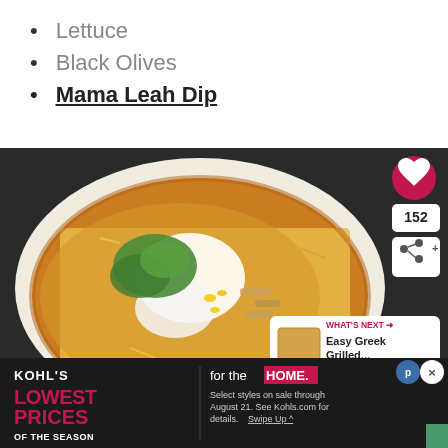Lettuce
Black Olives
Mama Leah Dip
[Figure (photo): Close-up photo of a Mexican-style flatbread or pizza topped with shredded cheese, sour cream, corn, pulled chicken, and fresh cilantro on a white plate, with dark background. UI overlays include a heart/like button (152 likes), a share button, and a 'What's Next' panel showing 'Easy Greek Grilled...']
[Figure (infographic): Kohl's advertisement banner with black background. Left side: 'KOHL'S' logo in white, 'LOWEST PRICES OF THE SEASON' in red. Right side: 'for the HOME.' in white/red, 'Select styles on sale through August 21. See Kohls.com for details. Swipe Up ^']